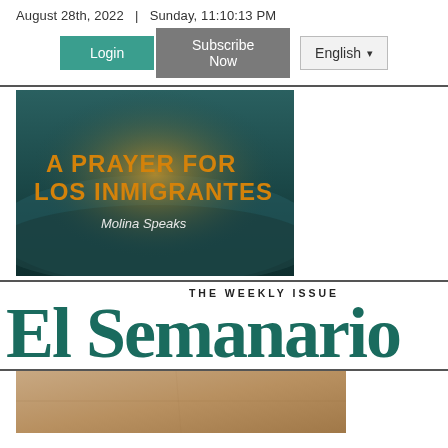August 28th, 2022  |  Sunday, 11:10:13 PM
Login  Subscribe Now  English
[Figure (illustration): A PRAYER FOR LOS INMIGRANTES - Molina Speaks. Aerial view of desert landscape with golden glowing text overlay on teal/dark background.]
THE WEEKLY ISSUE El Semanario
[Figure (photo): Partial photo showing warm tan/brown tones, partially cut off at bottom of page.]